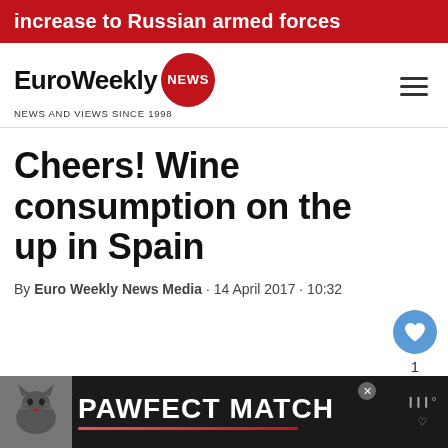increase to Russian armed forces
[Figure (logo): EuroWeekly NEWS logo with red circular badge and tagline NEWS AND VIEWS SINCE 1998]
Cheers! Wine consumption on the up in Spain
By Euro Weekly News Media · 14 April 2017 · 10:32
[Figure (infographic): PAWFECT MATCH advertisement banner with cat image at bottom of page]